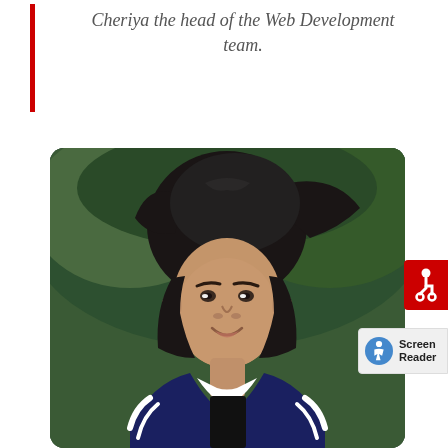Cheriya the head of the Web Development team.
[Figure (photo): Portrait photograph of a young man with long dark wavy hair, smiling, wearing a navy blue letterman jacket with white stripes, photographed outdoors with green foliage in the background.]